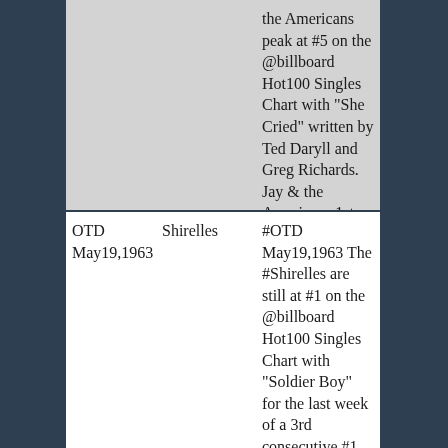|  |  | the Americans peak at #5 on the @billboard Hot100 Singles Chart with "She Cried" written by Ted Daryll and Greg Richards. Jay & the Americans 1st major hit |
| OTD
May19,1963 | Shirelles | #OTD May19,1963 The #Shirelles are still at #1 on the @billboard Hot100 Singles Chart with "Soldier Boy" for the last week of a 3rd consecutive #1 |